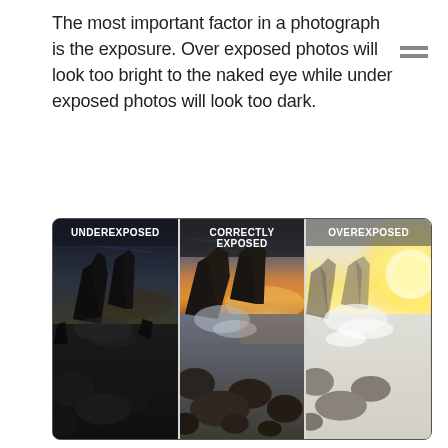The most important factor in a photograph is the exposure. Over exposed photos will look too bright to the naked eye while under exposed photos will look too dark.
[Figure (photo): A triptych comparison photograph of a dramatic coastal rock scene at sunset, divided into three vertical panels labeled: UNDEREXPOSED (dark, muted tones), CORRECTLY EXPOSED (natural warm sunset colors, visible sky and rocks), and OVEREXPOSED (very bright, washed-out, yellow-white glare). Waves and large jagged rocks are visible in all three panels.]